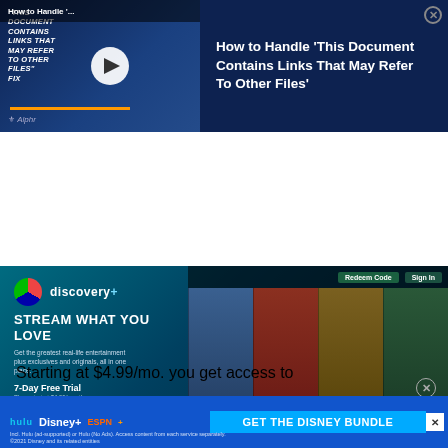[Figure (screenshot): Top advertisement showing a laptop video thumbnail with play button and text overlay 'This document contains links that may refer to other files FIX' with Alphr logo on the left, and article title 'How to Handle This Document Contains Links That May Refer To Other Files' on the right with close button, on dark navy background]
[Figure (screenshot): Discovery+ streaming service advertisement showing the discovery+ logo, headline 'STREAM WHAT YOU LOVE', subtext 'Get the greatest real-life entertainment plus exclusives and originals, all in one place.', 7-Day Free Trial offer, Plans start at $4.99/month, Start Free Trial button, Redeem Code and Sign In navigation buttons, photos of TV personalities and a lion, and channel logos: HGTV, TLC, ID, and Discovery]
Starting at $4.99/mo. you get access to
Discovery's TV shows any time you want to
[Figure (screenshot): Bottom banner advertisement for The Disney Bundle showing Hulu, Disney+, and ESPN+ logos on navy background with 'GET THE DISNEY BUNDLE' call to action button. Fine print: 'Incl. Hulu (ad-supported) or Hulu (No Ads). Access content from each service separately. ©2021 Disney and its related entities' with close X button]